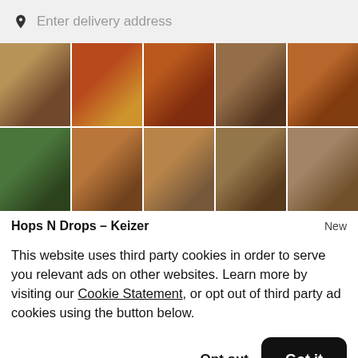Enter delivery address
[Figure (photo): Grid of 10 food photos showing various restaurant dishes including sandwiches, soups, chicken wings, edamame, burgers, and other food items arranged in 2 rows of 5]
Hops N Drops – Keizer
New
This website uses third party cookies in order to serve you relevant ads on other websites. Learn more by visiting our Cookie Statement, or opt out of third party ad cookies using the button below.
Opt out
Got it